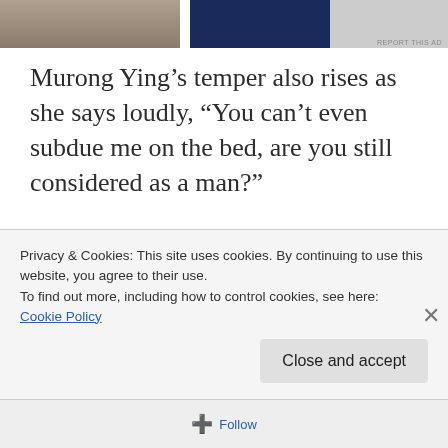[Figure (photo): Partial view of an advertisement banner at top of page with two photo panels — a muted warm-toned left panel and a dark navy right panel.]
Murong Ying’s temper also rises as she says loudly, “You can’t even subdue me on the bed, are you still considered as a man?”
This sentence completely provoked Li Fan, “Then let us try!”
As Li Fan speaks, zhenqi flows throughout his entire body. After a month of training, it made
Privacy & Cookies: This site uses cookies. By continuing to use this website, you agree to their use.
To find out more, including how to control cookies, see here:
Cookie Policy
Close and accept